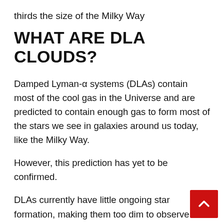thirds the size of the Milky Way
WHAT ARE DLA CLOUDS?
Damped Lyman-α systems (DLAs) contain most of the cool gas in the Universe and are predicted to contain enough gas to form most of the stars we see in galaxies around us today, like the Milky Way.
However, this prediction has yet to be confirmed.
DLAs currently have little ongoing star formation, making them too dim to observe directly from their emitted light alone.